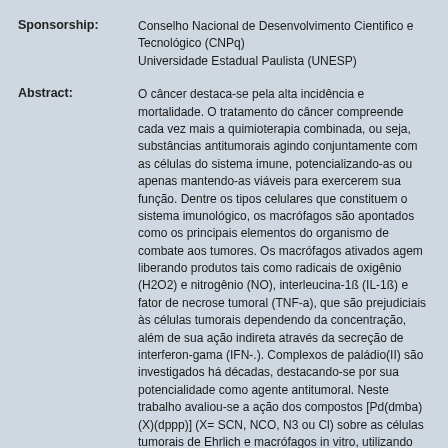Sponsorship: Conselho Nacional de Desenvolvimento Cientifico e Tecnológico (CNPq)
Universidade Estadual Paulista (UNESP)
Abstract: O câncer destaca-se pela alta incidência e mortalidade. O tratamento do câncer compreende cada vez mais a quimioterapia combinada, ou seja, substâncias antitumorais agindo conjuntamente com as células do sistema imune, potencializando-as ou apenas mantendo-as viáveis para exercerem sua função. Dentre os tipos celulares que constituem o sistema imunológico, os macrófagos são apontados como os principais elementos do organismo de combate aos tumores. Os macrófagos ativados agem liberando produtos tais como radicais de oxigênio (H2O2) e nitrogênio (NO), interleucina-1ß (IL-1ß) e fator de necrose tumoral (TNF-a), que são prejudiciais às células tumorais dependendo da concentração, além de sua ação indireta através da secreção de interferon-gama (IFN-.). Complexos de paládio(II) são investigados há décadas, destacando-se por sua potencialidade como agente antitumoral. Neste trabalho avaliou-se a ação dos compostos [Pd(dmba)(X)(dppp)] (X= SCN, NCO, N3 ou Cl) sobre as células tumorais de Ehrlich e macrófagos in vitro, utilizando como padrão a cis-platina (cis-Pt). Para tanto, foram realizados ensaios para determinação do índice de citotoxicidade mediano, o IC50, para cada